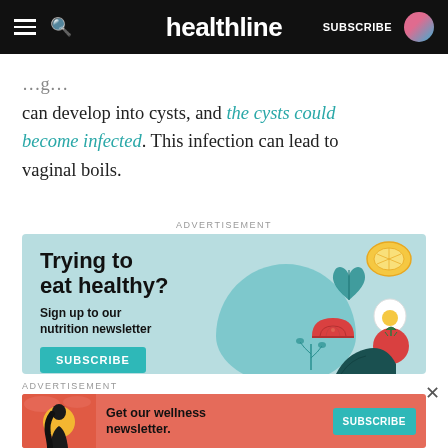healthline — SUBSCRIBE
can develop into cysts, and the cysts could become infected. This infection can lead to vaginal boils.
ADVERTISEMENT
[Figure (infographic): Healthline nutrition newsletter advertisement banner with headline 'Trying to eat healthy? Sign up to our nutrition newsletter' and a SUBSCRIBE button, with illustrated food items including lemon slice, arugula leaves, egg, tomatoes, and dark greens on a light teal background.]
ADVERTISEMENT
[Figure (infographic): Wellness newsletter advertisement banner with illustrated woman and text 'Get our wellness newsletter.' with a teal SUBSCRIBE button on a red/orange background.]